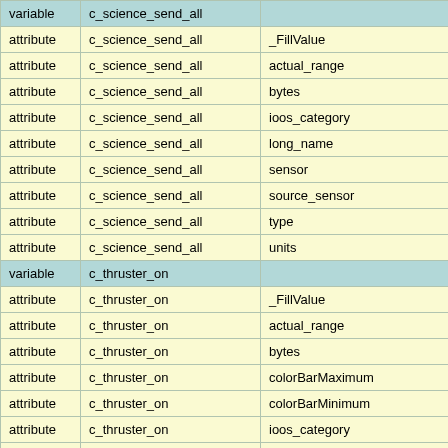|  |  |  |
| --- | --- | --- |
| variable | c_science_send_all |  |
| attribute | c_science_send_all | _FillValue |
| attribute | c_science_send_all | actual_range |
| attribute | c_science_send_all | bytes |
| attribute | c_science_send_all | ioos_category |
| attribute | c_science_send_all | long_name |
| attribute | c_science_send_all | sensor |
| attribute | c_science_send_all | source_sensor |
| attribute | c_science_send_all | type |
| attribute | c_science_send_all | units |
| variable | c_thruster_on |  |
| attribute | c_thruster_on | _FillValue |
| attribute | c_thruster_on | actual_range |
| attribute | c_thruster_on | bytes |
| attribute | c_thruster_on | colorBarMaximum |
| attribute | c_thruster_on | colorBarMinimum |
| attribute | c_thruster_on | ioos_category |
| attribute | c_thruster_on | long_name |
| attribute | c_thruster_on | sensor |
| attribute | c_thruster_on | source_sensor |